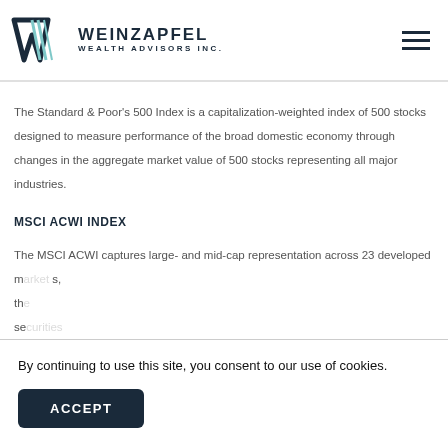Weinzapfel Wealth Advisors Inc.
The Standard & Poor's 500 Index is a capitalization-weighted index of 500 stocks designed to measure performance of the broad domestic economy through changes in the aggregate market value of 500 stocks representing all major industries.
MSCI ACWI INDEX
The MSCI ACWI captures large- and mid-cap representation across 23 developed m... s, th... se...
By continuing to use this site, you consent to our use of cookies.